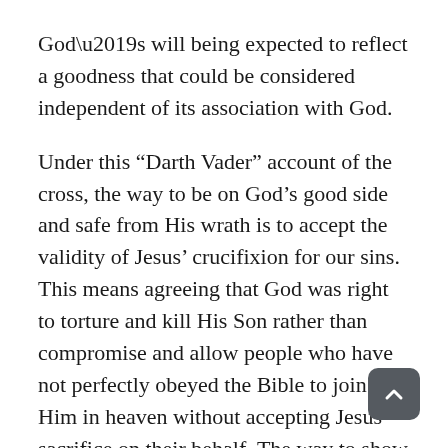God's will being expected to reflect a goodness that could be considered independent of its association with God.
Under this “Darth Vader” account of the cross, the way to be on God’s good side and safe from His wrath is to accept the validity of Jesus’ crucifixion for our sins. This means agreeing that God was right to torture and kill His Son rather than compromise and allow people who have not perfectly obeyed the Bible to join Him in heaven without accepting Jesus’ sacrifice on their behalf. The way to show that you really accept the legitimacy of God’s uncompromising stance is to become a person of no compromise yourself, or, to stay in the Star Wars